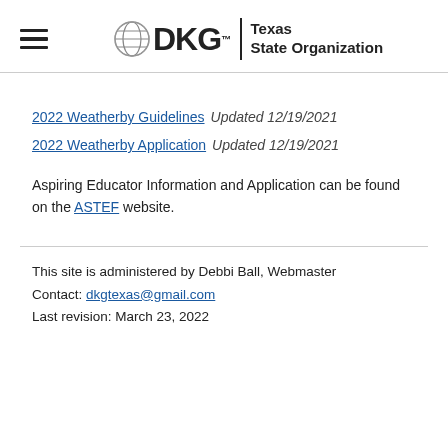DKG Texas State Organization
2022 Weatherby Guidelines  Updated 12/19/2021
2022 Weatherby Application  Updated 12/19/2021
Aspiring Educator Information and Application can be found on the ASTEF website.
This site is administered by Debbi Ball, Webmaster
Contact: dkgtexas@gmail.com
Last revision: March 23, 2022